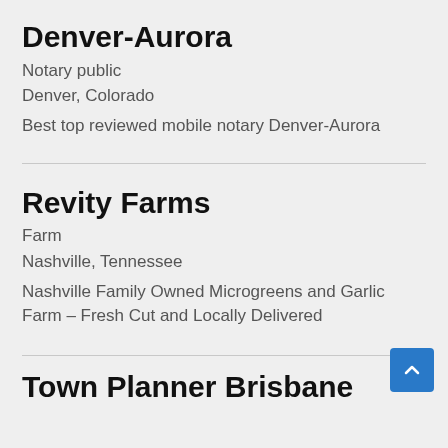Denver-Aurora
Notary public
Denver, Colorado
Best top reviewed mobile notary Denver-Aurora
Revity Farms
Farm
Nashville, Tennessee
Nashville Family Owned Microgreens and Garlic Farm – Fresh Cut and Locally Delivered
Town Planner Brisbane